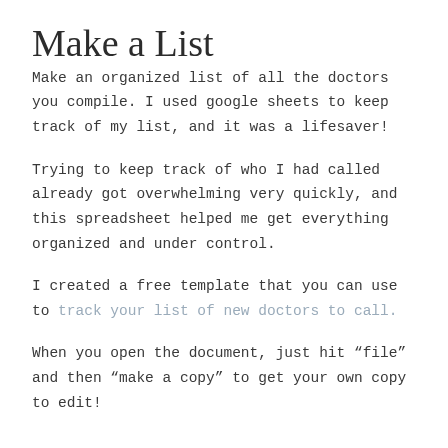Make a List
Make an organized list of all the doctors you compile. I used google sheets to keep track of my list, and it was a lifesaver!
Trying to keep track of who I had called already got overwhelming very quickly, and this spreadsheet helped me get everything organized and under control.
I created a free template that you can use to track your list of new doctors to call.
When you open the document, just hit “file” and then “make a copy” to get your own copy to edit!